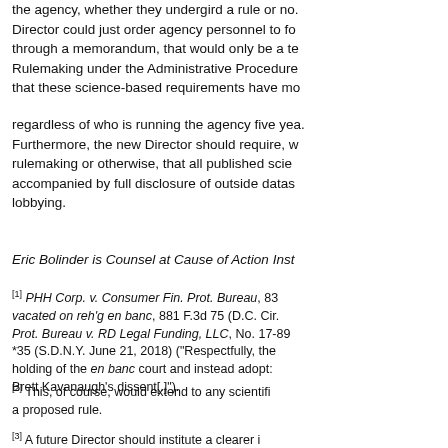the agency, whether they undergird a rule or no. Director could just order agency personnel to fo through a memorandum, that would only be a t. Rulemaking under the Administrative Procedure that these science-based requirements have mo
regardless of who is running the agency five yea. Furthermore, the new Director should require, w rulemaking or otherwise, that all published scie accompanied by full disclosure of outside datas lobbying.
Eric Bolinder is Counsel at Cause of Action Inst
[1] PHH Corp. v. Consumer Fin. Prot. Bureau, 839 vacated on reh'g en banc, 881 F.3d 75 (D.C. Cir. Prot. Bureau v. RD Legal Funding, LLC, No. 17-89 *35 (S.D.N.Y. June 21, 2018) ("Respectfully, the holding of the en banc court and instead adopt: Brett Kavanaugh's dissent[.]").
[2] This, of course, would extend to any scientif a proposed rule.
[3] A future Director should institute a clearer i